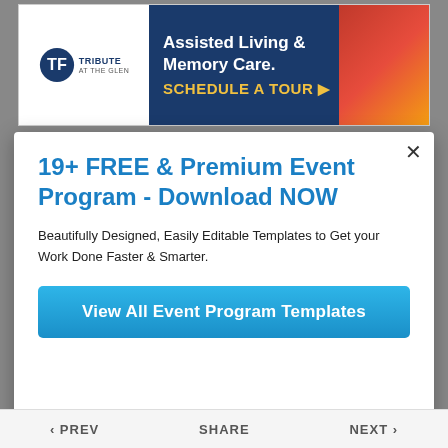[Figure (other): Banner advertisement for Tribute at the Glen: Assisted Living & Memory Care. Schedule a Tour.]
19+ FREE & Premium Event Program - Download NOW
Beautifully Designed, Easily Editable Templates to Get your Work Done Faster & Smarter.
View All Event Program Templates
‹ PREV   SHARE   NEXT ›